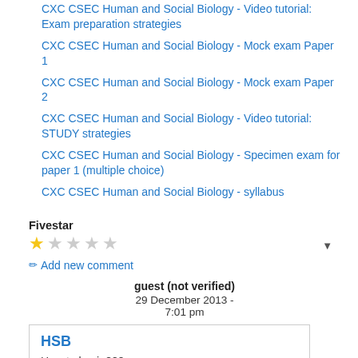CXC CSEC Human and Social Biology - Video tutorial: Exam preparation strategies
CXC CSEC Human and Social Biology - Mock exam Paper 1
CXC CSEC Human and Social Biology - Mock exam Paper 2
CXC CSEC Human and Social Biology - Video tutorial: STUDY strategies
CXC CSEC Human and Social Biology - Specimen exam for paper 1 (multiple choice)
CXC CSEC Human and Social Biology - syllabus
Fivestar
★☆☆☆☆
✏ Add new comment
guest (not verified)
29 December 2013 - 7:01 pm
HSB
How to log in???